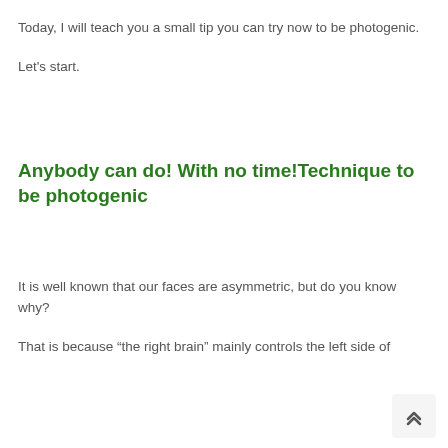Today, I will teach you a small tip you can try now to be photogenic.
Let's start.
Anybody can do! With no time!Technique to be photogenic
It is well known that our faces are asymmetric, but do you know why?
That is because “the right brain” mainly controls the left side of